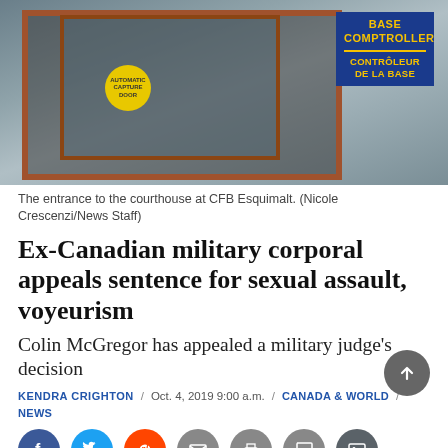[Figure (photo): Photo of the entrance to the courthouse at CFB Esquimalt, showing glass doors with a yellow circular sticker, and a blue bilingual sign reading BASE COMPTROLLER / CONTRÔLEUR DE LA BASE]
The entrance to the courthouse at CFB Esquimalt. (Nicole Crescenzi/News Staff)
Ex-Canadian military corporal appeals sentence for sexual assault, voyeurism
Colin McGregor has appealed a military judge's decision
KENDRA CRIGHTON / Oct. 4, 2019 9:00 a.m. / CANADA & WORLD / NEWS
[Figure (infographic): Social sharing icons: Facebook, Twitter, Reddit, Email, Print, Comment, Gallery]
An ex-Canadian Armed Forces corporal has been released